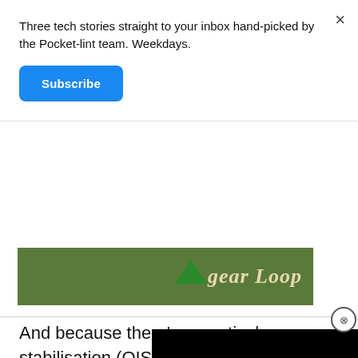Three tech stories straight to your inbox hand-picked by the Pocket-lint team. Weekdays.
Subscribe
[Figure (screenshot): Banner advertisement showing a nature/outdoors background with text 'gear loop' in stylized script and a green triangle icon]
[Figure (screenshot): Black video player overlay in the bottom right corner with a close (X) button]
And because there's no optical stabilisation (OIS) of any kind, if you move even slightly between pressing the shutter and the photo being taken, you're left with a slightly soft and blurry image.